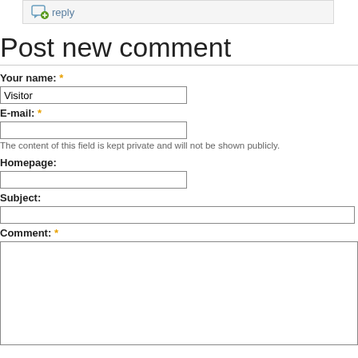[Figure (other): Reply button/icon with speech bubble and green plus sign, followed by text 'reply']
Post new comment
Your name: *
Visitor
E-mail: *
The content of this field is kept private and will not be shown publicly.
Homepage:
Subject:
Comment: *